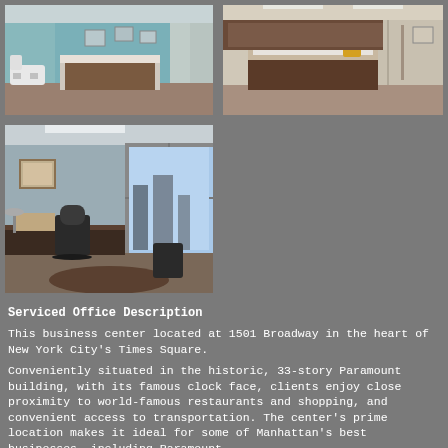[Figure (photo): Top-left office interior photo showing reception/lobby area with teal walls, white chairs, and modern desk]
[Figure (photo): Top-right office interior photo showing reception desk with dark wood paneling and hallway]
[Figure (photo): Bottom-left office interior photo showing private office with desk, chair, and large window with city view]
Serviced Office Description
This business center located at 1501 Broadway in the heart of New York City’s Times Square.
Conveniently situated in the historic, 33-story Paramount building, with its famous clock face, clients enjoy close proximity to world-famous restaurants and shopping, and convenient access to transportation. The center’s prime location makes it ideal for some of Manhattan’s best businesses, including Paramount...